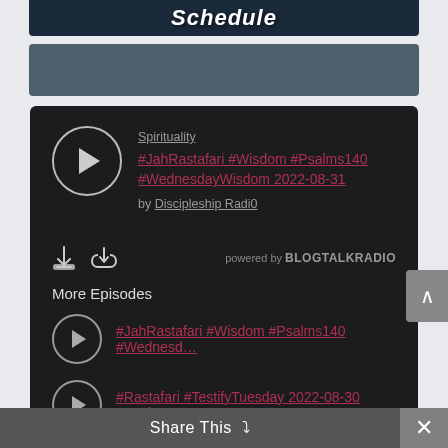[Figure (screenshot): Top banner with 'Schedule' text on dark blue background]
[Figure (screenshot): Gray bar for player header area]
Spirituality
#JahRastafari #Wisdom #Psalms140 #WednesdayWisdom 2022-08-31
by Discipleship Radi0
powered by BLOGTALKRADIO
More Episodes
#JahRastafari #Wisdom #Psalms140 #Wednesd...
#Rastafari #TestifyTuesday 2022-08-30 #Psalm6...
Share This ∨